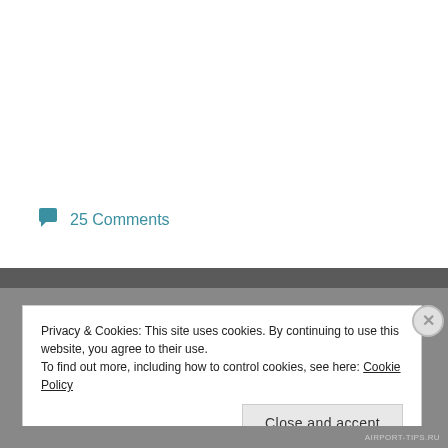💬 25 Comments
Privacy & Cookies: This site uses cookies. By continuing to use this website, you agree to their use.
To find out more, including how to control cookies, see here: Cookie Policy
Close and accept